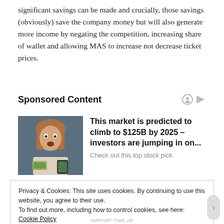significant savings can be made and crucially, those savings (obviously) save the company money but will also generate more income by negating the competition, increasing share of wallet and allowing MAS to increase not decrease ticket prices.
Sponsored Content
[Figure (photo): Woman with surprised expression holding money and a phone, used as advertisement image]
This market is predicted to climb to $125B by 2025 – investors are jumping in on...
Check out this top stock pick
Privacy & Cookies: This site uses cookies. By continuing to use this website, you agree to their use.
To find out more, including how to control cookies, see here: Cookie Policy
Close and accept
AIRPORT-TIME.AE